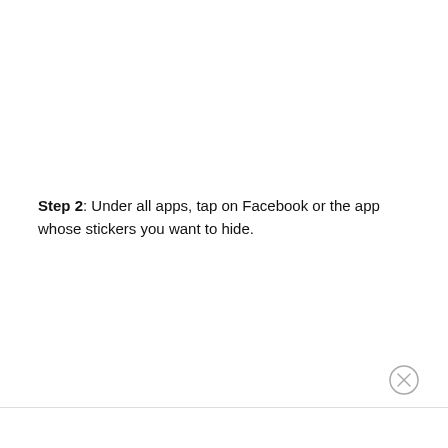Step 2: Under all apps, tap on Facebook or the app whose stickers you want to hide.